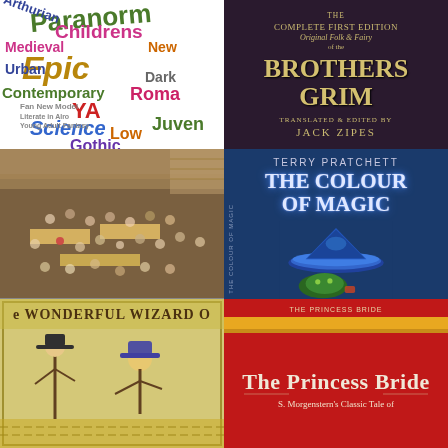[Figure (illustration): Word cloud of literary/fantasy genres including Paranormal, Epic, YA, Science, Contemporary, Gothic, Low, Roman, Childrens, Medieval, Urban, Grimdark, Arthurian, Juvenile, and others in various colors]
[Figure (photo): Book cover: The Complete First Edition of the Original Folk & Fairy Brothers Grimm, translated & edited by Jack Zipes, dark purple background with ornate lettering]
[Figure (photo): Aerial/overhead photo of a crowded book fair or convention floor with many people browsing tables]
[Figure (photo): Book cover: Terry Pratchett - The Colour of Magic, blue cover with glowing wizard hat illustration]
[Figure (illustration): Book cover: The Wonderful Wizard of Oz, vintage illustrated cover with characters]
[Figure (photo): Book cover: The Princess Bride - S. Morgenstern's Classic Tale of, red cover with gold/yellow stripe and white serif text]